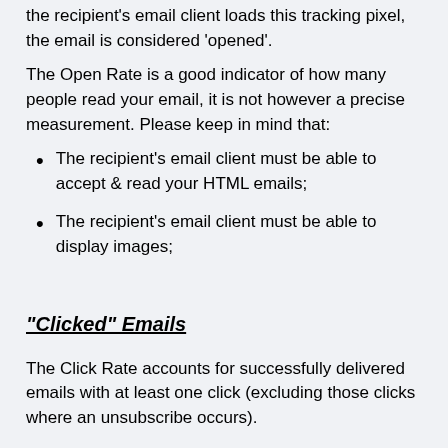the recipient's email client loads this tracking pixel, the email is considered 'opened'.
The Open Rate is a good indicator of how many people read your email, it is not however a precise measurement. Please keep in mind that:
The recipient's email client must be able to accept & read your HTML emails;
The recipient's email client must be able to display images;
"Clicked" Emails
The Click Rate accounts for successfully delivered emails with at least one click (excluding those clicks where an unsubscribe occurs).